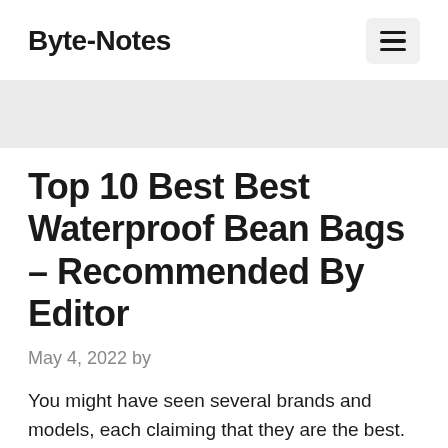Byte-Notes
Top 10 Best Best Waterproof Bean Bags – Recommended By Editor
May 4, 2022 by
You might have seen several brands and models, each claiming that they are the best. However, it is rather hard to choose